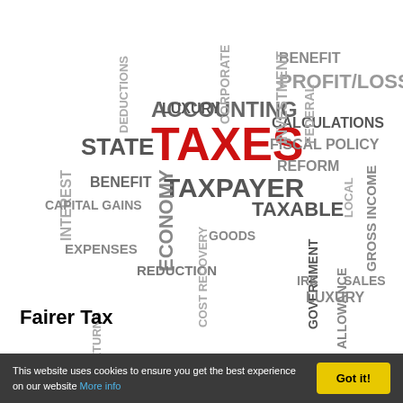[Figure (infographic): Tax-related word cloud featuring words like TAXES (large, red), TAXPAYER, TAXABLE, ACCOUNTING, STATE, ECONOMY, BENEFIT, PROFIT/LOSS, FISCAL POLICY, REFORM, CALCULATIONS, INVESTMENT, CAPITAL GAINS, EXPENSES, REDUCTION, IRS, SALES, LUXURY, GOODS, GOVERNMENT, ALLOWANCE, COST RECOVERY, RETURNS, DEDUCTIONS, INTEREST, FEDERAL, LOCAL, GROSS INCOME arranged in a word cloud style layout]
Fairer Tax
This website uses cookies to ensure you get the best experience on our website More info